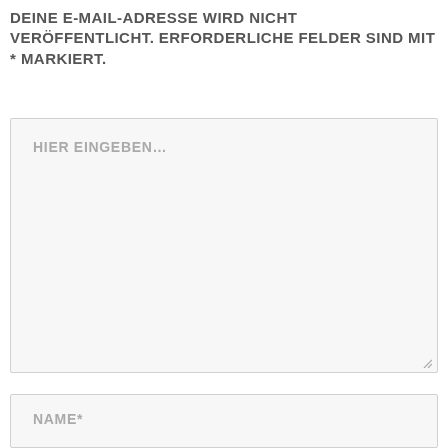DEINE E-MAIL-ADRESSE WIRD NICHT VERÖFFENTLICHT. ERFORDERLICHE FELDER SIND MIT * MARKIERT.
[Figure (other): Large text area input field with placeholder text 'HIER EINGEBEN...' and a resize handle in the bottom-right corner]
[Figure (other): Text input field with placeholder text 'NAME*']